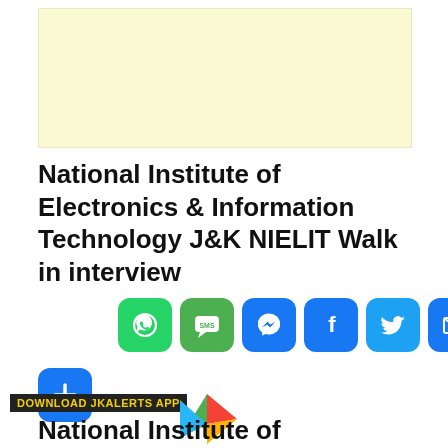[Figure (other): Yellow/cream colored advertisement banner placeholder]
National Institute of Electronics & Information Technology J&K NIELIT Walk in interview
[Figure (infographic): Social share icons: WhatsApp, SMS, Messenger, Facebook, Twitter, Email, and a plus button]
[Figure (logo): Google Play Store triangle logo icon in red, green, blue colors]
DOWNLOAD JKALERTS APP
National Institute of